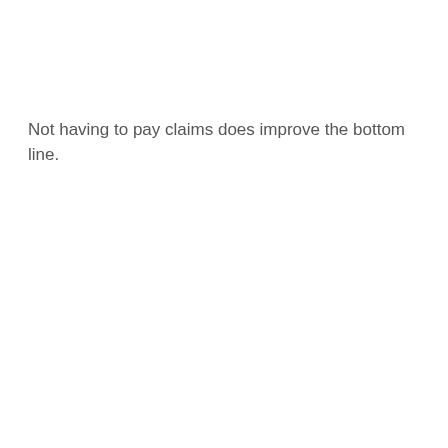Not having to pay claims does improve the bottom line.